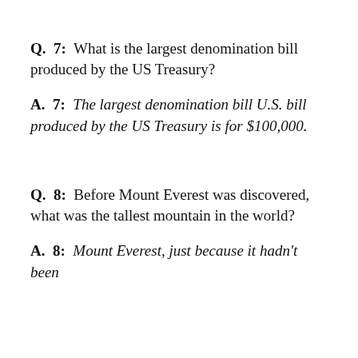Q. 7: What is the largest denomination bill produced by the US Treasury?
A. 7: The largest denomination bill U.S. bill produced by the US Treasury is for $100,000.
Q. 8: Before Mount Everest was discovered, what was the tallest mountain in the world?
A. 8: Mount Everest, just because it hadn't been